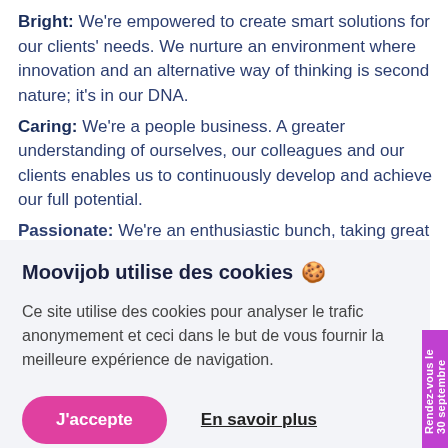Bright: We're empowered to create smart solutions for our clients' needs. We nurture an environment where innovation and an alternative way of thinking is second nature; it's in our DNA.
Caring: We're a people business. A greater understanding of ourselves, our colleagues and our clients enables us to continuously develop and achieve our full potential.
Passionate: We're an enthusiastic bunch, taking great [text clipped]
Moovijob utilise des cookies 🍪
Ce site utilise des cookies pour analyser le trafic anonymement et ceci dans le but de vous fournir la meilleure expérience de navigation.
J'accepte
En savoir plus
Rendez-vous le 30 septembre